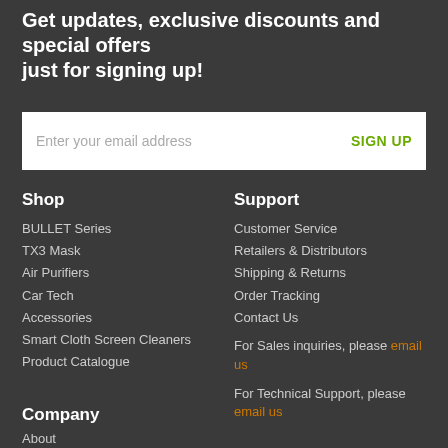Get updates, exclusive discounts and special offers just for signing up!
[Figure (other): Email signup form with placeholder text 'Enter your email address' and a 'SIGN UP' button in green]
Shop
BULLET Series
TX3 Mask
Air Purifiers
Car Tech
Accessories
Smart Cloth Screen Cleaners
Product Catalogue
Support
Customer Service
Retailers & Distributors
Shipping & Returns
Order Tracking
Contact Us
For Sales inquiries, please email us
For Technical Support, please email us
Company
About